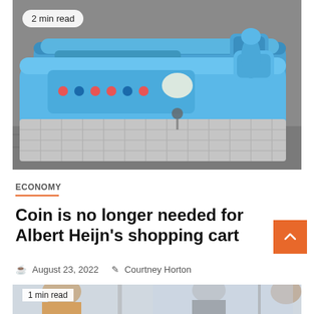[Figure (photo): Close-up photo of blue Albert Heijn shopping carts stacked together, showing the blue plastic handles and coin slots, with a '2 min read' badge in the top left corner.]
ECONOMY
Coin is no longer needed for Albert Heijn's shopping cart
August 23, 2022   Courtney Horton
[Figure (photo): Partially visible bottom article image showing people, with a '1 min read' badge.]